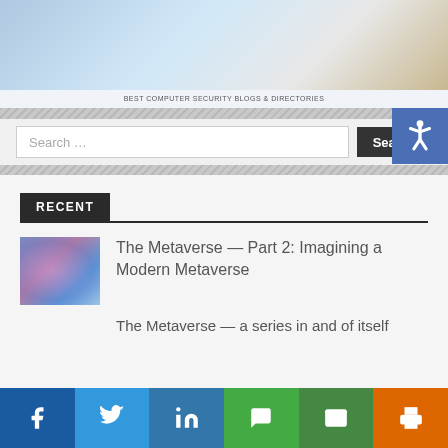[Figure (photo): Top banner/header image with computer security blog imagery, with caption 'BEST COMPUTER SECURITY BLOGS & DIRECTORIES']
BEST COMPUTER SECURITY BLOGS & DIRECTORIES
Search ...
RECENT
[Figure (photo): Thumbnail image of a person wearing VR headset with glowing blue digital elements]
The Metaverse — Part 2: Imagining a Modern Metaverse
The Metaverse — a series in and of itself